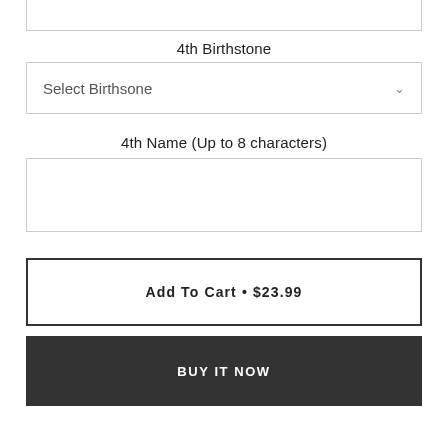4th Birthstone
[Figure (screenshot): Dropdown selector with placeholder text 'Select Birthsone' and a chevron arrow on the right]
4th Name (Up to 8 characters)
[Figure (screenshot): Empty text input field for entering a name]
Add To Cart • $23.99
BUY IT NOW